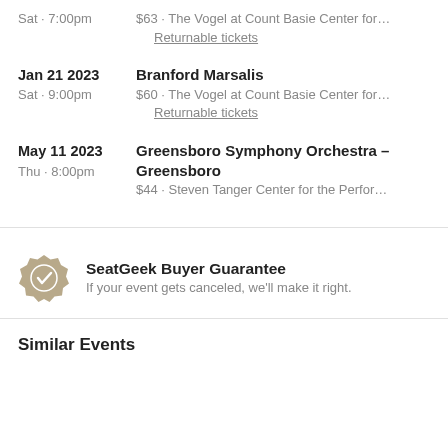Sat · 7:00pm  $63 · The Vogel at Count Basie Center for…
Returnable tickets
Jan 21 2023  Branford Marsalis
Sat · 9:00pm  $60 · The Vogel at Count Basie Center for…
Returnable tickets
May 11 2023  Greensboro Symphony Orchestra – Greensboro
Thu · 8:00pm  $44 · Steven Tanger Center for the Perfor…
SeatGeek Buyer Guarantee
If your event gets canceled, we'll make it right.
Similar Events